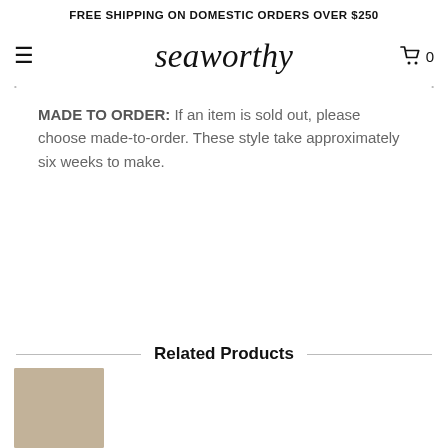FREE SHIPPING ON DOMESTIC ORDERS OVER $250
seaworthy
MADE TO ORDER: If an item is sold out, please choose made-to-order. These style take approximately six weeks to make.
Related Products
[Figure (photo): Partial product thumbnail image at bottom left]